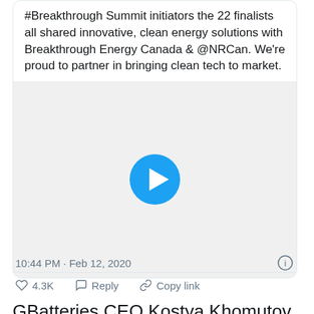#Breakthrough Summit initiators the 22 finalists all shared innovative, clean energy solutions with Breakthrough Energy Canada & @NRCan. We're proud to partner in bringing clean tech to market.
[Figure (other): Video thumbnail with a blue play button on a light gray/white background]
10:44 PM · Feb 12, 2020
♡ 4.3K   ○ Reply   ⟳ Copy link
GBatteries CEO Kostya Khomutov said in a statement that the funding will allow GBatteries to ramp up its testing with